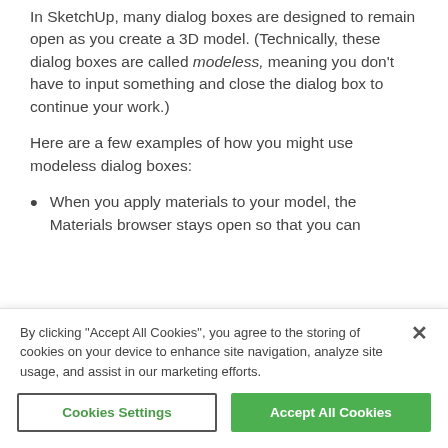In SketchUp, many dialog boxes are designed to remain open as you create a 3D model. (Technically, these dialog boxes are called modeless, meaning you don't have to input something and close the dialog box to continue your work.)
Here are a few examples of how you might use modeless dialog boxes:
When you apply materials to your model, the Materials browser stays open so that you can
By clicking "Accept All Cookies", you agree to the storing of cookies on your device to enhance site navigation, analyze site usage, and assist in our marketing efforts.